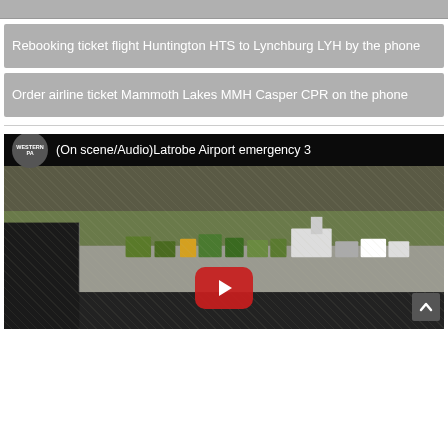Rebooking ticket flight Huntington HTS to Lynchburg LYH by the phone
Order airline ticket Mammoth Lakes MMH Casper CPR on the phone
[Figure (screenshot): YouTube video thumbnail showing airport emergency scene at Latrobe Airport with vehicles on runway. Channel: WESTERN PA. Video title: (On scene/Audio)Latrobe Airport emergency 3]